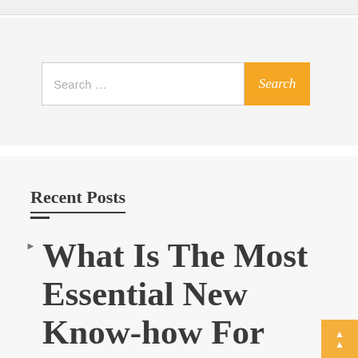[Figure (screenshot): Search bar widget with text input showing placeholder 'Search ...' and an orange 'Search' button]
Recent Posts
What Is The Most Essential New Know-how For...